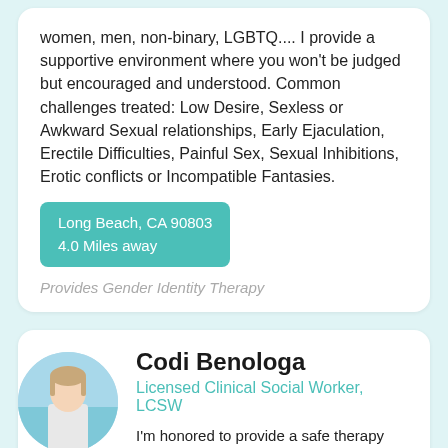women, men, non-binary, LGBTQ.... I provide a supportive environment where you won't be judged but encouraged and understood. Common challenges treated: Low Desire, Sexless or Awkward Sexual relationships, Early Ejaculation, Erectile Difficulties, Painful Sex, Sexual Inhibitions, Erotic conflicts or Incompatible Fantasies.
Long Beach, CA 90803
4.0 Miles away
Provides Gender Identity Therapy
Codi Benologa
Licensed Clinical Social Worker, LCSW
I'm honored to provide a safe therapy space for all of my patients to express themselves openly and freely. I am proud to assist the transgender community in providing letters for individuals ready to begin medically